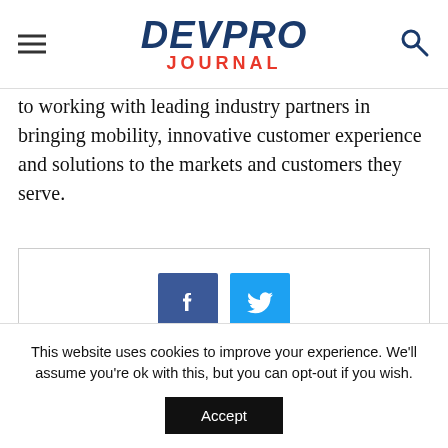DEVPRO JOURNAL
to working with leading industry partners in bringing mobility, innovative customer experience and solutions to the markets and customers they serve.
[Figure (infographic): Social share buttons: Facebook (dark blue with f icon) and Twitter (light blue with bird icon)]
RELATED ARTICLES
This website uses cookies to improve your experience. We'll assume you're ok with this, but you can opt-out if you wish. Accept